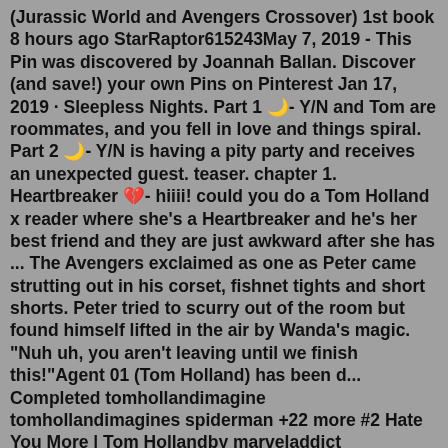(Jurassic World and Avengers Crossover) 1st book 8 hours ago StarRaptor615243May 7, 2019 - This Pin was discovered by Joannah Ballan. Discover (and save!) your own Pins on Pinterest Jan 17, 2019 · Sleepless Nights. Part 1 🌙- Y/N and Tom are roommates, and you fell in love and things spiral. Part 2 🌙- Y/N is having a pity party and receives an unexpected guest. teaser. chapter 1. Heartbreaker 💔- hiiii! could you do a Tom Holland x reader where she's a Heartbreaker and he's her best friend and they are just awkward after she has ... The Avengers exclaimed as one as Peter came strutting out in his corset, fishnet tights and short shorts. Peter tried to scurry out of the room but found himself lifted in the air by Wanda's magic. "Nuh uh, you aren't leaving until we finish this!"Agent 01 (Tom Holland) has been d... Completed tomhollandimagine tomhollandimagines spiderman +22 more #2 Hate You More | Tom Hollandby marveladdict 244K5.7K43 (Y/n) gets her first big movie role. She is more than